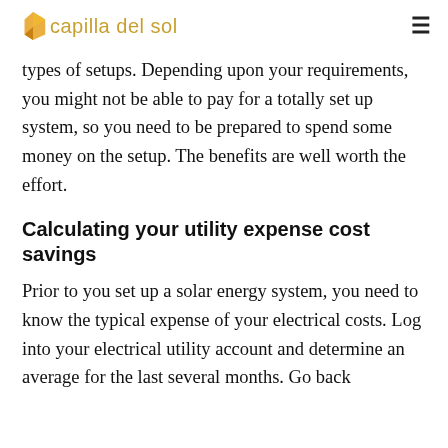capilla del sol
types of setups. Depending upon your requirements, you might not be able to pay for a totally set up system, so you need to be prepared to spend some money on the setup. The benefits are well worth the effort.
Calculating your utility expense cost savings
Prior to you set up a solar energy system, you need to know the typical expense of your electrical costs. Log into your electrical utility account and determine an average for the last several months. Go back